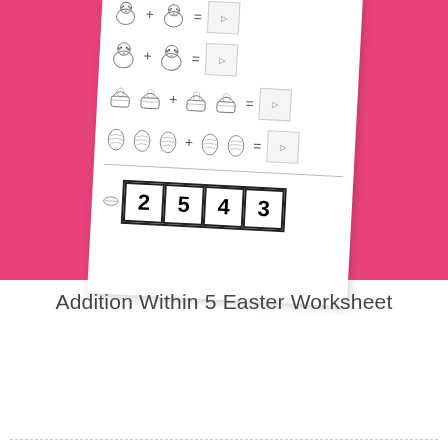[Figure (illustration): Easter addition worksheet shown at a slight angle on a pink background. The worksheet contains rows of Easter-themed addition problems (chicks, Easter baskets, decorated eggs) with answer boxes, and a number strip showing 2, 5, 4, 3 at the bottom.]
Addition Within 5 Easter Worksheet